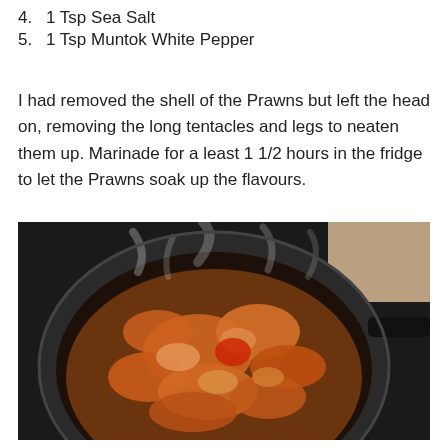4. 1 Tsp Sea Salt
5. 1 Tsp Muntok White Pepper
I had removed the shell of the Prawns but left the head on, removing the long tentacles and legs to neaten them up. Marinade for a least 1 1/2 hours in the fridge to let the Prawns soak up the flavours.
[Figure (photo): A dark frying pan filled with prawns/shrimp cooking in a sauce, steam rising, photographed from above on a stovetop.]